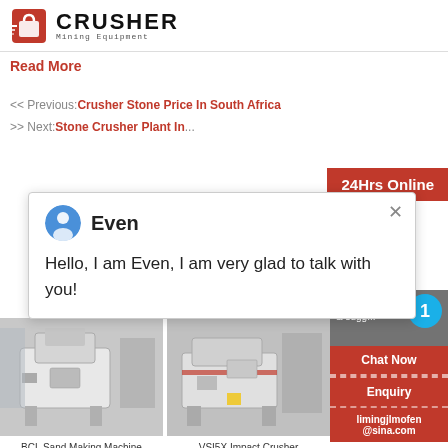CRUSHER Mining Equipment
Read More
<< Previous: Crusher Stone Price In South Africa
>> Next: Stone Crusher Plant In...
24Hrs Online
Even
Hello, I am Even, I am very glad to talk with you!
Need ... & sugg...
1
Chat Now
Enquiry
limingjlmofen@sina.com
[Figure (photo): BCL Sand Making Machine - industrial crusher equipment photo]
BCL Sand Making Machine
[Figure (photo): VSI5X Impact Crusher - industrial crusher equipment photo]
VSI5X Impact Crusher